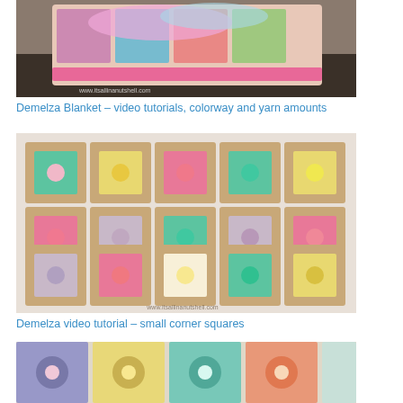[Figure (photo): Colorful crocheted blanket draped over a bench against a brick wall, showing multicolored granny squares with a decorative pink border. Watermark: www.itsallinanutshell.com]
Demelza Blanket – video tutorials, colorway and yarn amounts
[Figure (photo): Flat lay of crocheted granny squares featuring floral motifs in pink, teal, yellow, and purple on a tan/beige background, arranged in a 4x5 grid. Watermark: www.itsallinanutshell.com]
Demelza video tutorial – small corner squares
[Figure (photo): Close-up of colorful crocheted blanket squares in teal, yellow, pink, and coral, partially visible at the bottom of the page.]